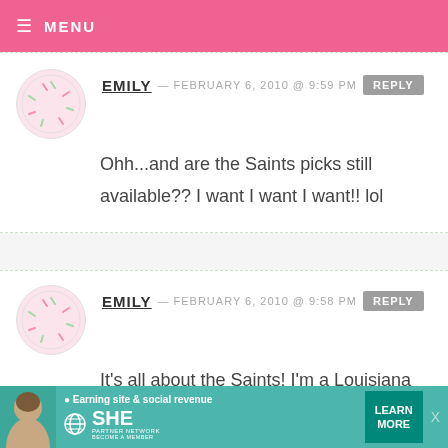MENU
EMILY — FEBRUARY 6, 2010 @ 9:59 PM REPLY
Ohh...and are the Saints picks still available?? I want I want I want!! lol
EMILY — FEBRUARY 6, 2010 @ 9:58 PM REPLY
It's all about the Saints! I'm a Louisiana girl and you know I'm BEYOND thrilled they have made it this far!!

GEAUX SAINTS! WHO DAT!! WE DAT!!
[Figure (infographic): SHE Partner Network advertisement banner with earning site social revenue tagline, photo of woman, learn more button]